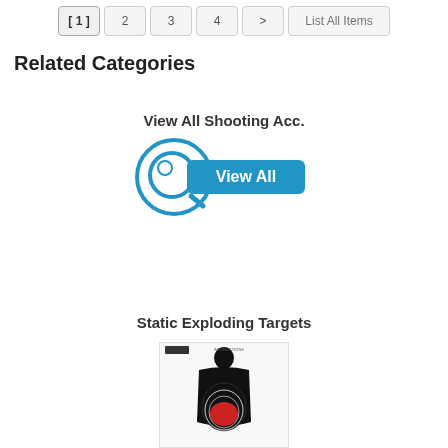[ 1 ]  2  3  4  >  List All Items
Related Categories
View All Shooting Acc.
[Figure (illustration): Blue circular magnifying glass icon with a blue rounded rectangle button labeled 'View All' in white text]
Static Exploding Targets
[Figure (photo): Shooting range black silhouette target with a red center zone on a white background]